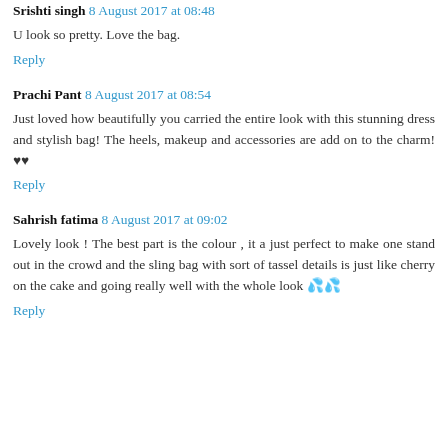Srishti singh 8 August 2017 at 08:48
U look so pretty. Love the bag.
Reply
Prachi Pant 8 August 2017 at 08:54
Just loved how beautifully you carried the entire look with this stunning dress and stylish bag! The heels, makeup and accessories are add on to the charm!♥♥
Reply
Sahrish fatima 8 August 2017 at 09:02
Lovely look ! The best part is the colour , it a just perfect to make one stand out in the crowd and the sling bag with sort of tassel details is just like cherry on the cake and going really well with the whole look
Reply